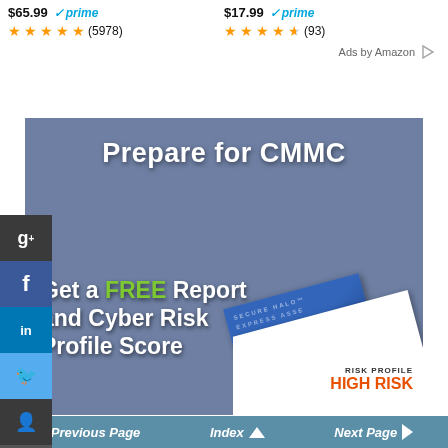$65.99 ✓prime ★★★★★ (5978)
$17.99 ✓prime ★★★★½ (93)
Ads by Amazon ▷
[Figure (infographic): CMMC advertisement banner with blue-grey background. Text reads 'Prepare for CMMC' at top, then 'Get a FREE Report and Cyber Risk Profile Score'. Social media share buttons on left side (Google+, Facebook, LinkedIn, Twitter, Share, StumbleUpon). A Risk Profile report card graphic on the right showing 'RISK PROFILE HIGH RISK' text.]
◄ Previous Page    Index ▲    Next Page ►